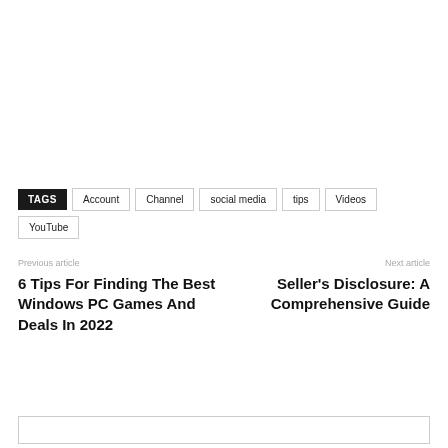TAGS  Account  Channel  social media  tips  Videos  YouTube
Previous article
Next article
6 Tips For Finding The Best Windows PC Games And Deals In 2022
Seller's Disclosure: A Comprehensive Guide